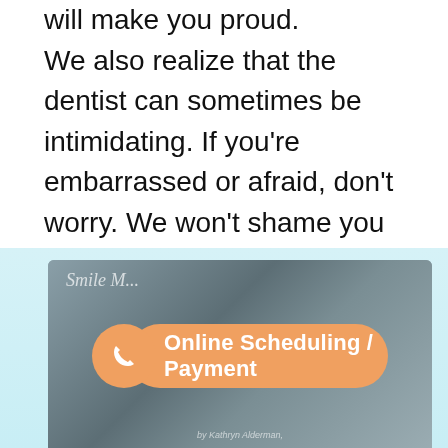will make you proud.

We also realize that the dentist can sometimes be intimidating. If you're embarrassed or afraid, don't worry. We won't shame you or lecture you at our office. Our team of dentists in Lincoln, NE simply wants to help you have the happiest, healthiest smile possible. We're committed to doing this in an approachable, caring way.
[Figure (photo): A partially visible image of a dental office or smile-related content, with text 'Smile M...' and attribution 'by Kathryn Alderman' at the bottom. Image is cropped and occupies the lower portion of the page.]